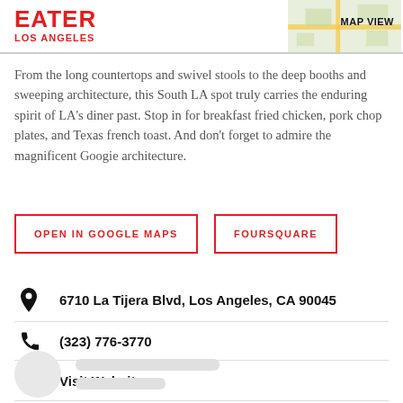EATER LOS ANGELES | MAP VIEW
From the long countertops and swivel stools to the deep booths and sweeping architecture, this South LA spot truly carries the enduring spirit of LA's diner past. Stop in for breakfast fried chicken, pork chop plates, and Texas french toast. And don't forget to admire the magnificent Googie architecture.
OPEN IN GOOGLE MAPS
FOURSQUARE
6710 La Tijera Blvd, Los Angeles, CA 90045
(323) 776-3770
Visit Website